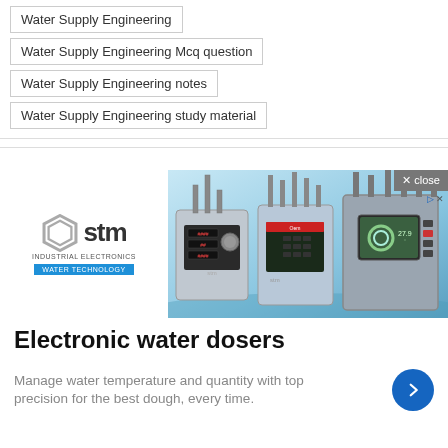Water Supply Engineering
Water Supply Engineering Mcq question
Water Supply Engineering notes
Water Supply Engineering study material
[Figure (photo): Advertisement banner for STM Industrial Electronics - Water Technology showing electronic water dosing equipment. Close button in top right. Logo on left side with 'stm INDUSTRIAL ELECTRONICS WATER TECHNOLOGY' text. Right side shows industrial water dosing machines with digital displays.]
Electronic water dosers
Manage water temperature and quantity with top precision for the best dough, every time.